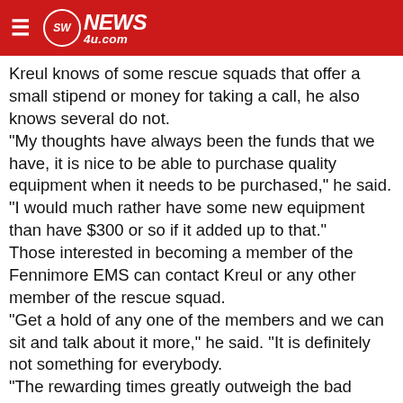SW NEWS 4U.com
Kreul knows of some rescue squads that offer a small stipend or money for taking a call, he also knows several do not. “My thoughts have always been the funds that we have, it is nice to be able to purchase quality equipment when it needs to be purchased,” he said. “I would much rather have some new equipment than have $300 or so if it added up to that.” Those interested in becoming a member of the Fennimore EMS can contact Kreul or any other member of the rescue squad. “Get a hold of any one of the members and we can sit and talk about it more,” he said. “It is definitely not something for everybody. “The rewarding times greatly outweigh the bad times.” “Being an EMT can be a very rewarding part of a person’s life,” said Fennimore EMS member Susan Childs. “There are not many other ways to have such a wonderful impact on the life of another individual or their family.”